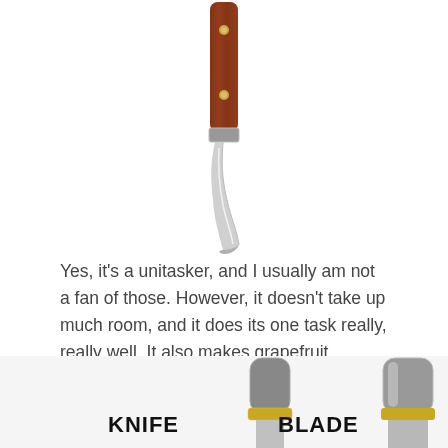[Figure (photo): A grapefruit knife with a wooden handle (reddish-brown with two gold rivets) and a curved stainless steel blade, shown vertically oriented with handle at top and blade pointing down.]
Yes, it's a unitasker, and I usually am not a fan of those. However, it doesn't take up much room, and it does its one task really, really well. It also makes grapefruit spoons unnecessary, and they take up more room than the knife.
[Figure (photo): Close-up of grapefruit knife handle and blade transition area with gold collar, labeled KNIFE on the left and BLADE on the right.]